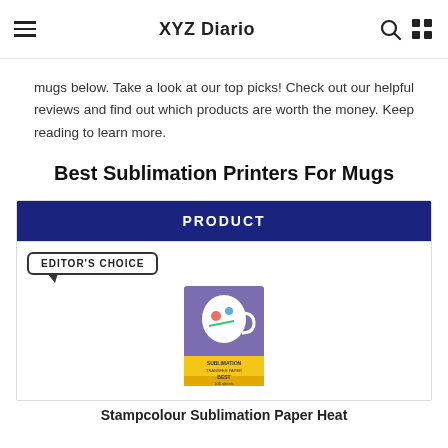XYZ Diario
mugs below. Take a look at our top picks! Check out our helpful reviews and find out which products are worth the money. Keep reading to learn more.
Best Sublimation Printers For Mugs
| PRODUCT |
| --- |
[Figure (photo): Product image of a sublimation paper package with a mug graphic, purple and yellow packaging. Labeled EDITOR'S CHOICE.]
Stampcolour Sublimation Paper Heat